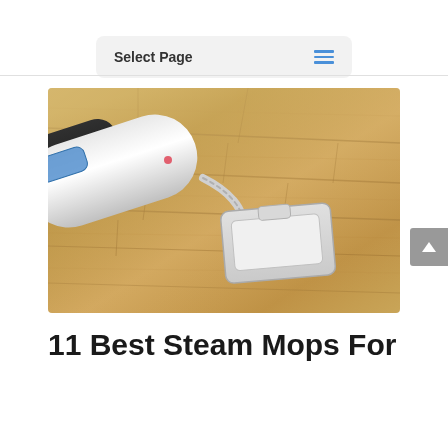Select Page
[Figure (photo): A steam mop with white body being used on a hardwood floor, viewed from close angle showing the mop head attachment on wooden floorboards]
11 Best Steam Mops For